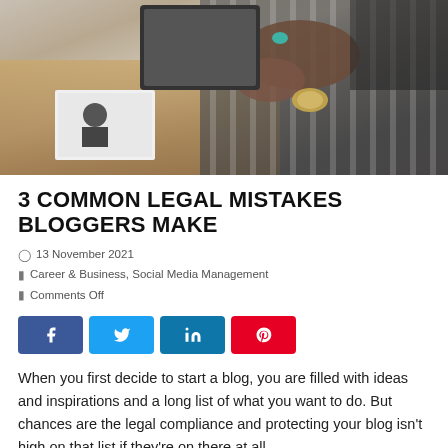[Figure (photo): Overhead view of a person sitting at a wooden desk, wearing a striped outfit and jewelry, working on a laptop or device. A book or magazine is visible on the desk.]
3 COMMON LEGAL MISTAKES BLOGGERS MAKE
13 November 2021
Career & Business, Social Media Management
Comments Off
[Figure (infographic): Social media share buttons: Facebook (blue), Twitter (light blue), LinkedIn (dark blue), Pinterest (red)]
When you first decide to start a blog, you are filled with ideas and inspirations and a long list of what you want to do. But chances are the legal compliance and protecting your blog isn't high on that list if they're on there at all.
After a while you realize there are probably some things you